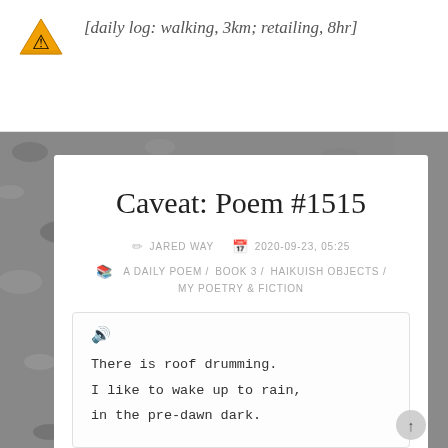[Figure (illustration): Orange warning/caution triangle icon with a figure inside]
[daily log: walking, 3km; retailing, 8hr]
Caveat: Poem #1515
JARED WAY   2020-09-23, 05:25
A DAILY POEM / BOOK 3 / HAIKUISH OBJECTS / MY POETRY & FICTION
There is roof drumming.
I like to wake up to rain,
in the pre-dawn dark.
– a pseudo-haiku.